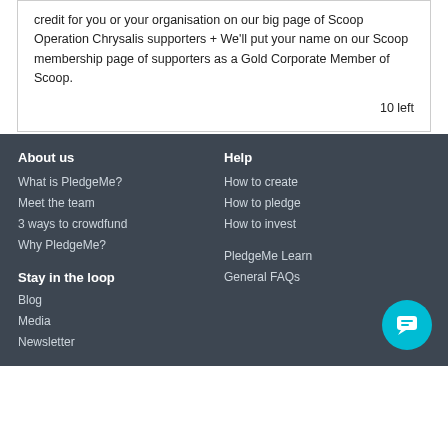credit for you or your organisation on our big page of Scoop Operation Chrysalis supporters + We'll put your name on our Scoop membership page of supporters as a Gold Corporate Member of Scoop.
10 left
About us
What is PledgeMe?
Meet the team
3 ways to crowdfund
Why PledgeMe?
Help
How to create
How to pledge
How to invest
PledgeMe Learn
General FAQs
Stay in the loop
Blog
Media
Newsletter